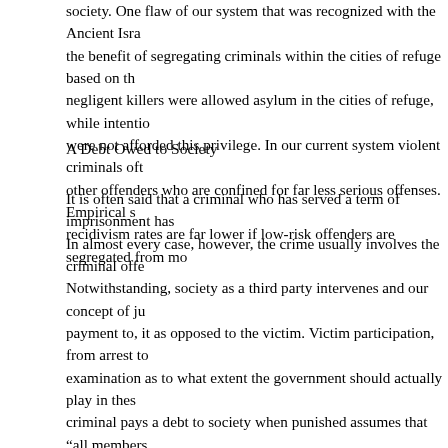society. One flaw of our system that was recognized with the Ancient Isra the benefit of segregating criminals within the cities of refuge based on th negligent killers were allowed asylum in the cities of refuge, while intentio were not afforded this privilege. In our current system violent criminals oft other offenders who are confined for far less serious offenses. Empirical s recidivism rates are far lower if low-risk offenders are segregated from mo
A Debt Owed to Society
It is often said that a criminal who has served a term of imprisonment has In almost every case, however, the crime usually involves the criminal offe Notwithstanding, society as a third party intervenes and our concept of ju payment to, it as opposed to the victim. Victim participation, from arrest to examination as to what extent the government should actually play in thes criminal pays a debt to society when punished assumes that “all members tacit promise to obey its laws that they have broken.” They then pays this “compensates society for their broken promises.” This assumption presu not “voluntary which cannot be avoided and implies a promise made with criminal did not “technically promise to do anything, the lawbreaker had m therefore no debt to pay.” For this reason few offenders accept punishme of their offenses. Our system has lost sight in many respects the role of th For instance, with most thefts monetary restitution is usually neglected in practices. Punishment is not concerned with the actual loss or damage ca but only with the integrity of preserving the legal order. The punishment th